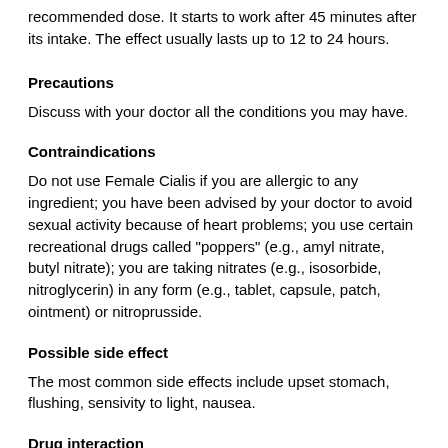recommended dose. It starts to work after 45 minutes after its intake. The effect usually lasts up to 12 to 24 hours.
Precautions
Discuss with your doctor all the conditions you may have.
Contraindications
Do not use Female Cialis if you are allergic to any ingredient; you have been advised by your doctor to avoid sexual activity because of heart problems; you use certain recreational drugs called "poppers" (e.g., amyl nitrate, butyl nitrate); you are taking nitrates (e.g., isosorbide, nitroglycerin) in any form (e.g., tablet, capsule, patch, ointment) or nitroprusside.
Possible side effect
The most common side effects include upset stomach, flushing, sensivity to light, nausea.
Drug interaction
Discuss with you doctor all the medicines and herbal products prescribed and not prescribed you may take.
Missed dose